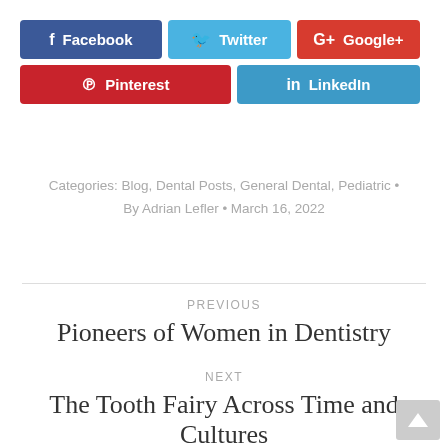[Figure (other): Social sharing buttons: Facebook (dark blue), Twitter (light blue), Google+ (red), Pinterest (red), LinkedIn (light blue)]
Categories: Blog, Dental Posts, General Dental, Pediatric • By Adrian Lefler • March 16, 2022
PREVIOUS
Pioneers of Women in Dentistry
NEXT
The Tooth Fairy Across Time and Cultures